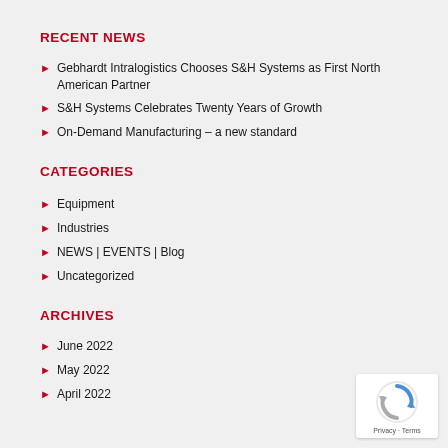RECENT NEWS
Gebhardt Intralogistics Chooses S&H Systems as First North American Partner
S&H Systems Celebrates Twenty Years of Growth
On-Demand Manufacturing – a new standard
CATEGORIES
Equipment
Industries
NEWS | EVENTS | Blog
Uncategorized
ARCHIVES
June 2022
May 2022
April 2022